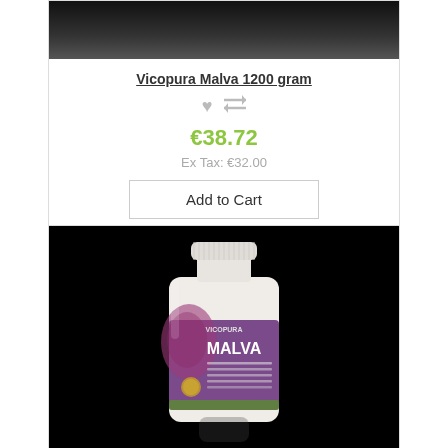[Figure (photo): Top portion of a product image (dark/black background, product partially visible at top)]
Vicopura Malva 1200 gram
♥  ⇌
€38.72
Ex Tax: €32.00
Add to Cart
[Figure (photo): Vicopura Malva supplement bottle with white container, purple label featuring MALVA branding on black background]